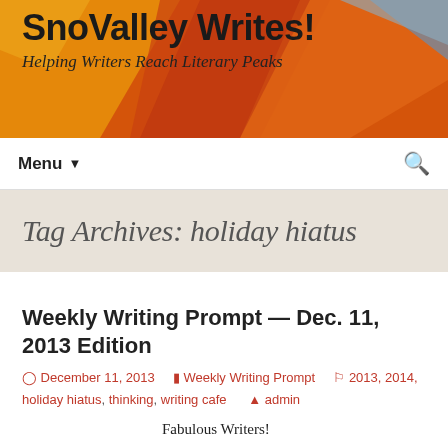SnoValley Writes! — Helping Writers Reach Literary Peaks
Tag Archives: holiday hiatus
Weekly Writing Prompt — Dec. 11, 2013 Edition
December 11, 2013   Weekly Writing Prompt   2013, 2014, holiday hiatus, thinking, writing cafe   admin
Fabulous Writers!